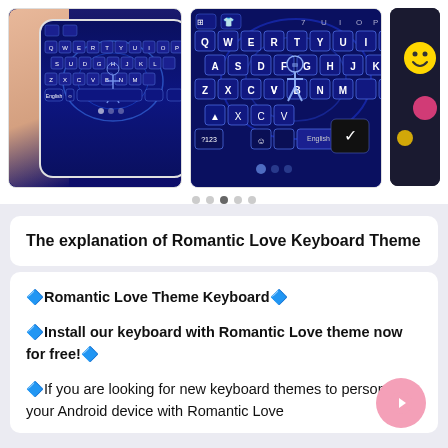[Figure (screenshot): Two screenshots of a mobile keyboard app with a blue neon romantic Paris theme showing QWERTY keyboard layout. Left image shows a hand holding a white smartphone. Right image is a close-up of the keyboard. Carousel dots below.]
The explanation of Romantic Love Keyboard Theme
🔷Romantic Love Theme Keyboard🔷
🔷Install our keyboard with Romantic Love theme now for free!🔷
🔷If you are looking for new keyboard themes to personalize your Android device with Romantic Love...